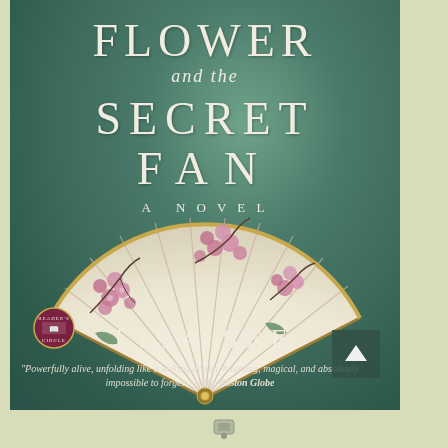[Figure (illustration): Book cover of 'Flower and the Secret Fan' by Lisa See. Green textured background with a cream-colored folding fan decorated with pink cherry blossom flowers in the center. Reader's Circle badge in bottom left. Scroll-up navigation button in bottom right corner.]
FLOWER and the SECRET FAN
A NOVEL
LISA SEE
"Powerfully alive, unfolding like a waking dream, haunting, magical, and absolutely impossible to forget."—The Boston Globe